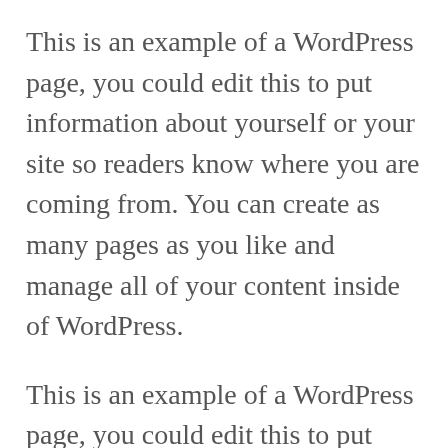This is an example of a WordPress page, you could edit this to put information about yourself or your site so readers know where you are coming from. You can create as many pages as you like and manage all of your content inside of WordPress.
This is an example of a WordPress page, you could edit this to put information about yourself or your site so readers know where you are coming from. You can create as many pages as you like and manage all of your content inside of WordPress. This is an example of a WordPress page, you could edit